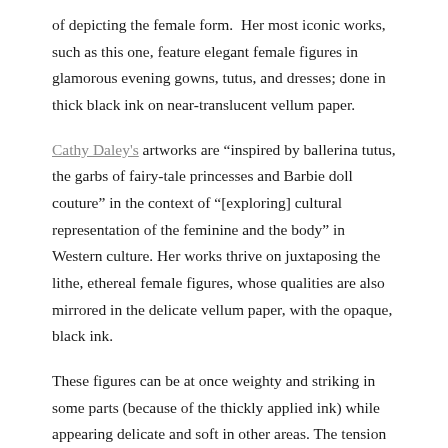of depicting the female form.  Her most iconic works, such as this one, feature elegant female figures in glamorous evening gowns, tutus, and dresses; done in thick black ink on near-translucent vellum paper.
Cathy Daley's artworks are “inspired by ballerina tutus, the garbs of fairy-tale princesses and Barbie doll couture” in the context of “[exploring] cultural representation of the feminine and the body” in Western culture. Her works thrive on juxtaposing the lithe, ethereal female figures, whose qualities are also mirrored in the delicate vellum paper, with the opaque, black ink.
These figures can be at once weighty and striking in some parts (because of the thickly applied ink) while appearing delicate and soft in other areas. The tension between the delicate and powerful is clear in both her figures and